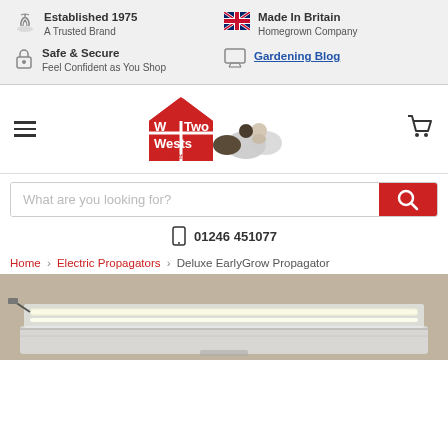Established 1975 | A Trusted Brand | Made In Britain | Homegrown Company | Safe & Secure | Feel Confident as You Shop | Gardening Blog
[Figure (logo): Two Wests & Elliott logo with red house shape, text 'WTWo ESTS & Elliott' with paw print, and two dogs]
What are you looking for?
01246 451077
Home > Electric Propagators > Deluxe EarlyGrow Propagator
[Figure (photo): Partial product photo of the Deluxe EarlyGrow Propagator showing LED lighting strips on a clear propagator tray]